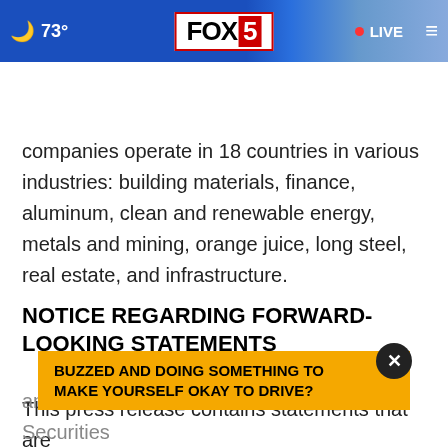73° FOX 5 • LIVE
companies operate in 18 countries in various industries: building materials, finance, aluminum, clean and renewable energy, metals and mining, orange juice, long steel, real estate, and infrastructure.
NOTICE REGARDING FORWARD-LOOKING STATEMENTS
This press release contains statements that are forward-looking within the meaning of Section 27A of
amended, and Section 215 of the U.S. Securities
[Figure (other): Ad banner: BUZZED AND DOING SOMETHING TO MAKE YOURSELF OKAY TO DRIVE?]